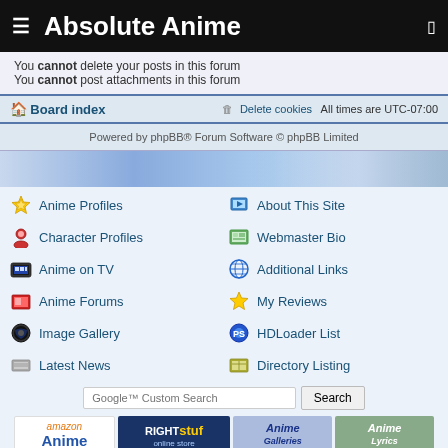Absolute Anime
You cannot delete your posts in this forum
You cannot post attachments in this forum
Board index   Delete cookies   All times are UTC-07:00
Powered by phpBB® Forum Software © phpBB Limited
[Figure (illustration): Anime banner with illustrated characters]
Anime Profiles
About This Site
Character Profiles
Webmaster Bio
Anime on TV
Additional Links
Anime Forums
My Reviews
Image Gallery
HDLoader List
Latest News
Directory Listing
[Figure (screenshot): Google Custom Search bar with Search button]
[Figure (logo): Sponsor logos: amazon Anime, RightStuf online store, Anime Galleries, Anime Lyrics, Tokyopop]
Copyright © Absolute Anime™ • Contact Us • Privacy Notice • Powered by phpBB present phpBB Group